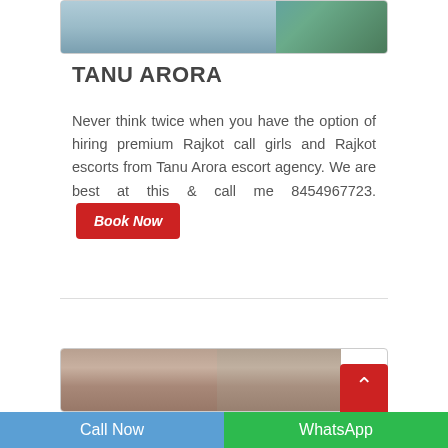[Figure (photo): Partial photo of a person, cropped at top of page inside a bordered card]
TANU ARORA
Never think twice when you have the option of hiring premium Rajkot call girls and Rajkot escorts from Tanu Arora escort agency. We are best at this & call me 8454967723. Book Now
[Figure (photo): Two photos of a young woman with dark hair, side by side at bottom of page in a bordered card]
Call Now    WhatsApp